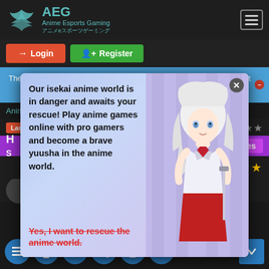AEG Anime Esports Gaming アニメeスポーツゲーミング
Login  Register
There is an ongoing Build/Guide/LFG contest with giveaways on August 2022. Check it out in contest forum.
AnimeEsports.com / Community / Lounge
Last Post  Thread Rating: ★★★★
H... S...  de  Thread Modes
[Figure (screenshot): Popup advertisement for an isekai anime game. Text reads: 'Our isekai anime world is in danger and awaits your rescue! Play anime games online with pro gamers and become a brave yuusha in the anime world. Yes, I want to rescue the anime world.' Features an anime girl with white hair on a purple/blue background.]
★★★★★★★
3 Years of Service
Navigation icons: list, trophy, g, share, monitor, gamepad (with badge 3), scroll down arrow